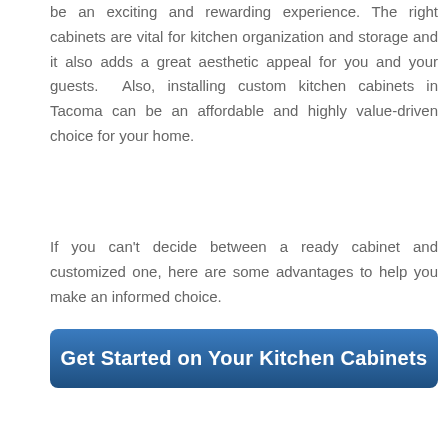be an exciting and rewarding experience. The right cabinets are vital for kitchen organization and storage and it also adds a great aesthetic appeal for you and your guests. Also, installing custom kitchen cabinets in Tacoma can be an affordable and highly value-driven choice for your home.
If you can't decide between a ready cabinet and customized one, here are some advantages to help you make an informed choice.
[Figure (other): Blue call-to-action button with text 'Get Started on Your Kitchen Cabinets']